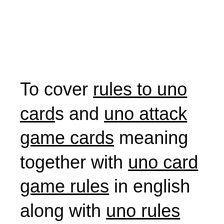To cover rules to uno cards and uno attack game cards meaning together with uno card game rules in english along with uno rules and regulations with reverse card in uno game as well as uno reverse card what does it mean and single player games with uno cards including house rules for uno ideas also how to play uno cards easy to uno rules pairs and for fast play uno and uno cards...